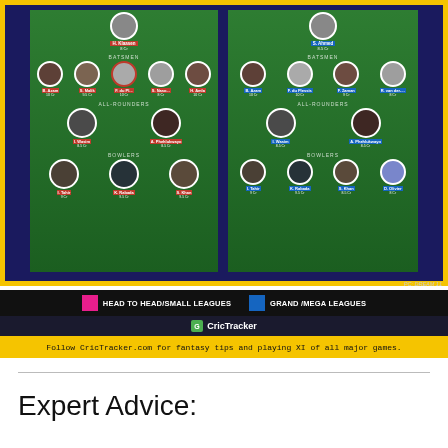[Figure (infographic): Fantasy cricket team selection infographic showing two team compositions side by side. Left panel (HEAD TO HEAD/SMALL LEAGUES - pink): WK H. Klaasen 8Cr; BATSMEN: B. Azam 10Cr, S. Malik 9.5Cr, F. du Pl... 10Cr, S. Naso... 8Cr, H. Amla 10Cr; ALL-ROUNDERS: I. Wasim 8.5Cr, A. Phehlukwayo 8.5Cr; BOWLERS: I. Tahir 9Cr, K. Rabada 9.5Cr, S. Khan 9.5Cr. Right panel (GRAND/MEGA LEAGUES - blue): WK S. Ahmed 8.5Cr; BATSMEN: B. Azam 10Cr, F. du Plessis 10Cr, F. Zaman 9Cr, R. van der-... 8Cr; ALL-ROUNDERS: I. Wasim 8.5Cr, A. Phehlukwayo 8.5Cr; BOWLERS: I. Tahir 9Cr, K. Rabada 9.5Cr, S. Khan 8.5Cr, D. Olivier 8Cr. PC: DREAM 11]
[Figure (infographic): Legend bar: pink square = HEAD TO HEAD/SMALL LEAGUES, blue square = GRAND /MEGA LEAGUES]
[Figure (logo): CricTracker logo on dark background]
Follow CricTracker.com for fantasy tips and playing XI of all major games.
Expert Advice: